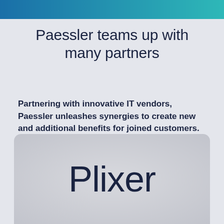Paessler teams up with many partners
Partnering with innovative IT vendors, Paessler unleashes synergies to create new and additional benefits for joined customers.
[Figure (logo): Plixer logo displayed on a rounded grey card at the bottom of the page]